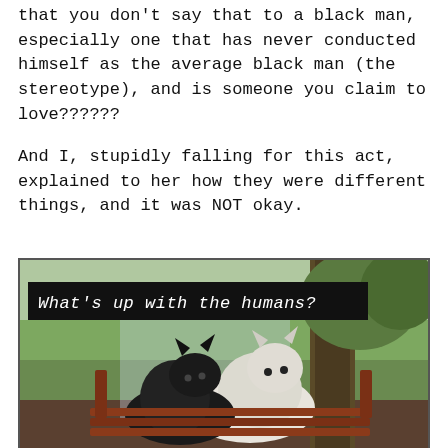that you don't say that to a black man, especially one that has never conducted himself as the average black man (the stereotype), and is someone you claim to love??????
And I, stupidly falling for this act, explained to her how they were different things, and it was NOT okay.
[Figure (photo): A meme-style photo of a black dog and a white dog sitting together on a bench, looking out at a green lawn and trees. A black caption bar overlaid at the top reads: What's up with the humans?]